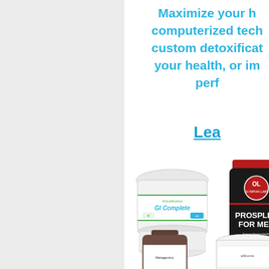Maximize your h... computerized tech... custom detoxificat... your health, or im... perf...
Lea...
[Figure (photo): GI Complete supplement powder tub with white lid and label showing GI Complete branding]
[Figure (photo): Prosplex For Men supplement bottle by Olympian Labs with red cap and dark label]
[Figure (photo): Metagenics supplement bottle, brown glass with label, partially visible]
[Figure (photo): White supplement container partially visible at bottom right]